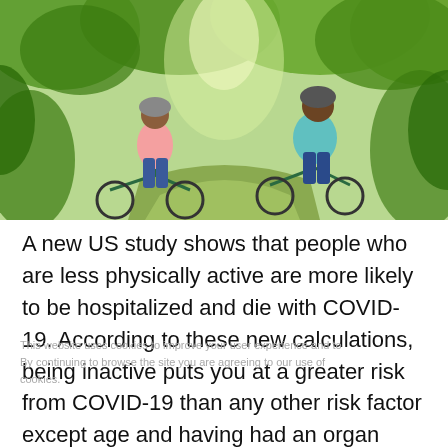[Figure (photo): Two people (a woman and a man) wearing bicycle helmets riding mountain bikes on a tree-lined path surrounded by green foliage and sunlight.]
A new US study shows that people who are less physically active are more likely to be hospitalized and die with COVID-19. According to these new calculations, being inactive puts you at a greater risk from COVID-19 than any other risk factor except age and having had an organ transplant. If this is right, it's a big deal.
This website uses cookies to improve your user experience and to By continuing to browse the site you are agreeing to our use of cookies.